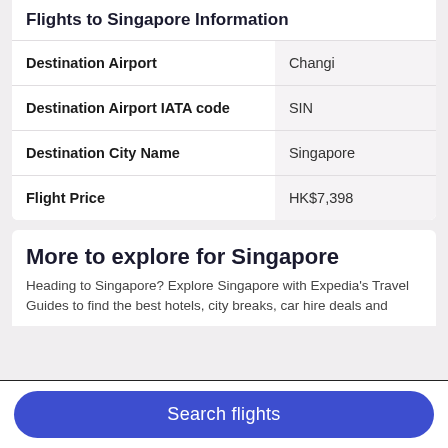Flights to Singapore Information
|  |  |
| --- | --- |
| Destination Airport | Changi |
| Destination Airport IATA code | SIN |
| Destination City Name | Singapore |
| Flight Price | HK$7,398 |
More to explore for Singapore
Heading to Singapore? Explore Singapore with Expedia's Travel Guides to find the best hotels, city breaks, car hire deals and
Search flights